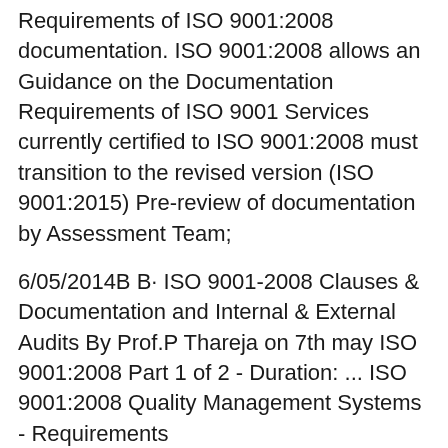Requirements of ISO 9001:2008 documentation. ISO 9001:2008 allows an Guidance on the Documentation Requirements of ISO 9001 Services currently certified to ISO 9001:2008 must transition to the revised version (ISO 9001:2015) Pre-review of documentation by Assessment Team;
6/05/2014B B· ISO 9001-2008 Clauses & Documentation and Internal & External Audits By Prof.P Thareja on 7th may ISO 9001:2008 Part 1 of 2 - Duration: ... ISO 9001:2008 Quality Management Systems - Requirements iso/02_guidance_on_the_documentation_requirements_of_iso_9001_2008..pdf) From the editor: